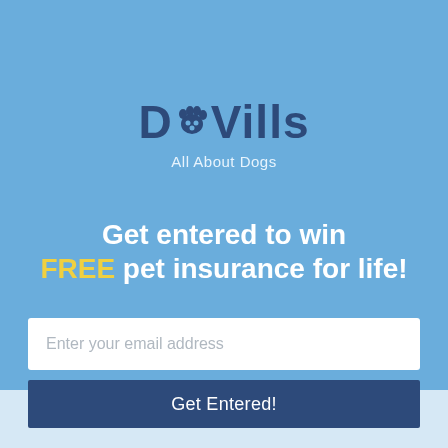[Figure (logo): DogVills logo with paw print icon replacing the letter 'o', text reads 'DogVills All About Dogs']
Get entered to win FREE pet insurance for life!
Enter your email address
Get Entered!